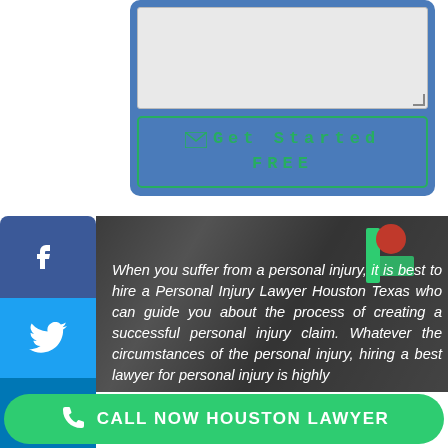[Figure (screenshot): Blue form panel with textarea and 'Get Started FREE' button with green border and envelope icon]
[Figure (infographic): Social media sidebar with Facebook, Twitter, LinkedIn, Pinterest, email, and Instapaper share buttons]
[Figure (photo): Dark blurred background photo of a traffic light or sign, with overlay text about hiring a Personal Injury Lawyer Houston Texas]
When you suffer from a personal injury, it is best to hire a Personal Injury Lawyer Houston Texas who can guide you about the process of creating a successful personal injury claim. Whatever the circumstances of the personal injury, hiring a best lawyer for personal injury is highly
[Figure (infographic): Green call-to-action button: CALL NOW HOUSTON LAWYER with phone icon]